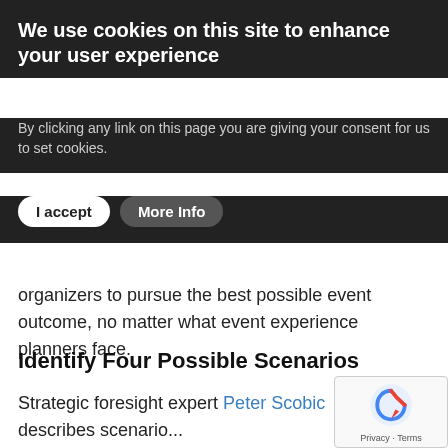We use cookies on this site to enhance your user experience
By clicking any link on this page you are giving your consent for us to set cookies.
organizers to pursue the best possible event outcome, no matter what event experience planners face.
Identify Four Possible Scenarios
Strategic foresight expert Peter Scobic describes scenario planning as “a constant cycle between imagining the future and acting in the present”—an apt description of the last two years of event planning.
As you plan your next event experience, commit to a bold, sharp purpose early and identify your desired outcomes. Then imagine how shifting world events could jeopardize th... to reaching those outcomes. Focus on what would mo... significantly affect the ideal path to your objectives and